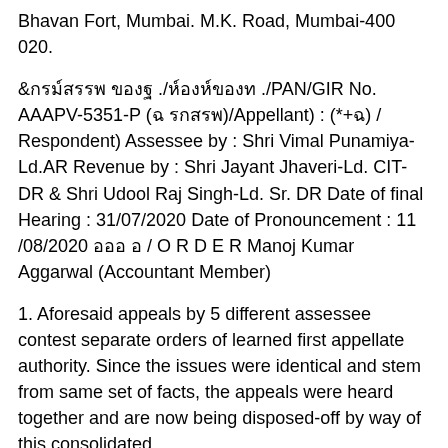Bhavan Fort, Mumbai. M.K. Road, Mumbai-400 020.
&            ./         ./PAN/GIR No. AAAPV-5351-P (       )/Appellant) : (*+ ) / Respondent) Assessee by : Shri Vimal Punamiya-Ld.AR Revenue by : Shri Jayant Jhaveri-Ld. CIT-DR & Shri Udool Raj Singh-Ld. Sr. DR Date of final Hearing : 31/07/2020 Date of Pronouncement : 11 /08/2020       / O R D E R Manoj Kumar Aggarwal (Accountant Member)
1. Aforesaid appeals by 5 different assessee contest separate orders of learned first appellate authority. Since the issues were identical and stem from same set of facts, the appeals were heard together and are now being disposed-off by way of this consolidated